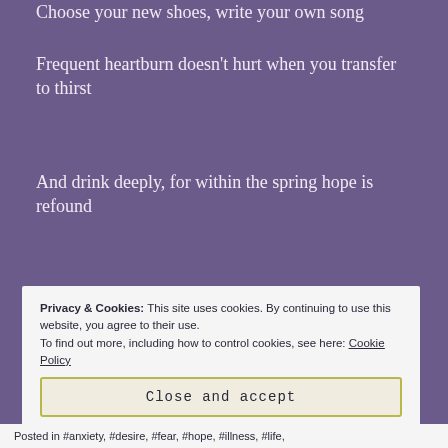Choose your new shoes, write your own song
Frequent heartburn doesn't hurt when you transfer to thirst
And drink deeply, for within the spring hope is refound
And God's? They live not in clouds but within us
Lending the strength to never ever give up
Privacy & Cookies: This site uses cookies. By continuing to use this website, you agree to their use. To find out more, including how to control cookies, see here: Cookie Policy
Close and accept
Posted in #anxiety, #desire, #fear, #hope, #illness, #life,